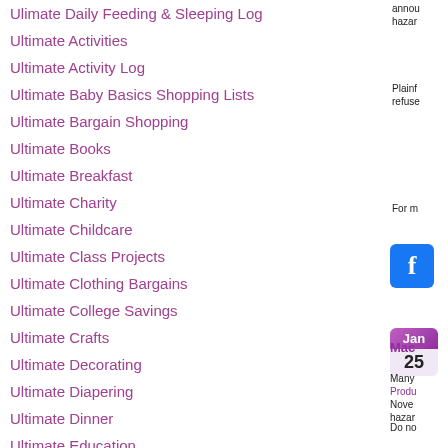Ulimate Daily Feeding & Sleeping Log
Ultimate Activities
Ultimate Activity Log
Ultimate Baby Basics Shopping Lists
Ultimate Bargain Shopping
Ultimate Books
Ultimate Breakfast
Ultimate Charity
Ultimate Childcare
Ultimate Class Projects
Ultimate Clothing Bargains
Ultimate College Savings
Ultimate Crafts
Ultimate Decorating
Ultimate Diapering
Ultimate Dinner
Ultimate Education
annou... hazar...
Plainf... refuse...
For m...
[Figure (logo): Facebook logo button, blue square with white F]
Jan 25
Mac...
Many... Produ... Nove... hazar...
Do no...